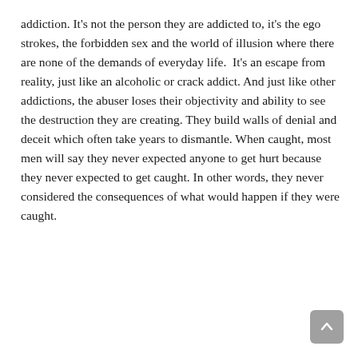addiction. It's not the person they are addicted to, it's the ego strokes, the forbidden sex and the world of illusion where there are none of the demands of everyday life.  It's an escape from reality, just like an alcoholic or crack addict. And just like other addictions, the abuser loses their objectivity and ability to see the destruction they are creating. They build walls of denial and deceit which often take years to dismantle. When caught, most men will say they never expected anyone to get hurt because they never expected to get caught. In other words, they never considered the consequences of what would happen if they were caught.